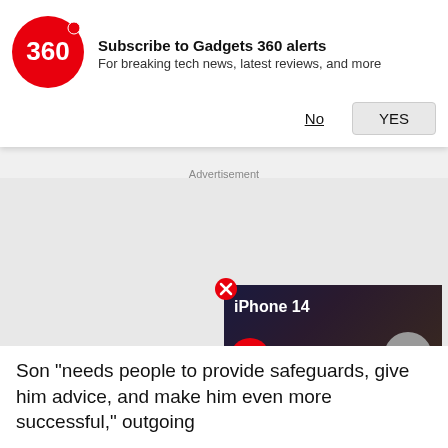[Figure (screenshot): Gadgets 360 notification subscription banner with red circular logo showing '360', title 'Subscribe to Gadgets 360 alerts', subtitle 'For breaking tech news, latest reviews, and more', and two buttons: 'No' (underlined) and 'YES' (grey button)]
Advertisement
[Figure (screenshot): iPhone 14 Rumour Roundup video thumbnail with dark background, white text 'iPhone 14' and 'RUMOUR ROUNDUP', red play button circle in center. Close (X) button in red circle at top-left of thumbnail.]
[Figure (other): Grey circular scroll-to-top button with upward chevron arrow]
Son "needs people to provide safeguards, give him advice, and make him even more successful," outgoing